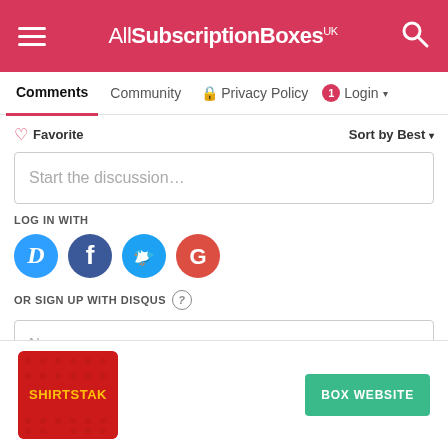[Figure (screenshot): AllSubscriptionBoxes UK website header with hamburger menu, logo, and search icon on a pink/red background]
AllSubscriptionBoxes UK
Comments | Community | Privacy Policy | 1 | Login
Favorite   Sort by Best
Start the discussion...
LOG IN WITH
[Figure (logo): Social login icons: Disqus (D), Facebook (f), Twitter (bird), Google (G)]
OR SIGN UP WITH DISQUS ?
Name
[Figure (logo): Shirtstak red logo box]
BOX WEBSITE